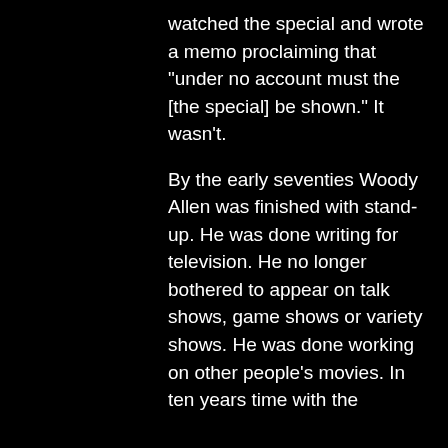watched the special and wrote a memo proclaiming that "under no account must the [the special] be shown." It wasn't.

By the early seventies Woody Allen was finished with stand-up. He was done writing for television. He no longer bothered to appear on talk shows, game shows or variety shows. He was done working on other people's movies. In ten years time with the